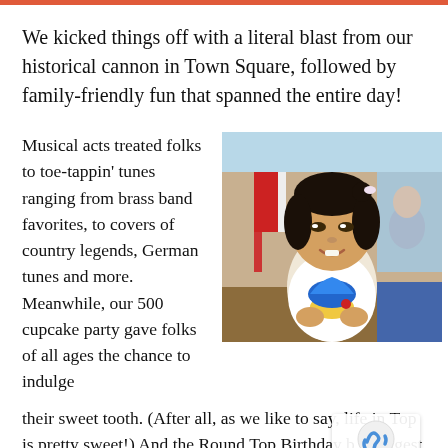We kicked things off with a literal blast from our historical cannon in Town Square, followed by family-friendly fun that spanned the entire day!
Musical acts treated folks to toe-tappin' tunes ranging from brass band favorites, to covers of country legends, German tunes and more. Meanwhile, our 500 cupcake party gave folks of all ages the chance to indulge their sweet tooth. (After all, as we like to say, life in Top is pretty sweet!) And the Round Top Birthday b youngest attendees? We had events planned just for them.
[Figure (photo): A young Asian girl smiling and holding a cupcake with blue frosting. She has short black hair with a hair clip. In the background is a room with an American flag and another person.]